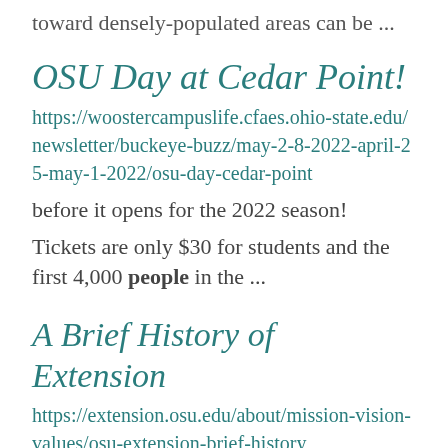toward densely-populated areas can be ...
OSU Day at Cedar Point!
https://woostercampuslife.cfaes.ohio-state.edu/newsletter/buckeye-buzz/may-2-8-2022-april-25-may-1-2022/osu-day-cedar-point
before it opens for the 2022 season!
Tickets are only $30 for students and the first 4,000 people in the ...
A Brief History of Extension
https://extension.osu.edu/about/mission-vision-values/osu-extension-brief-history
network of educators who "extend" university knowledge to people throughout the country. ... among the